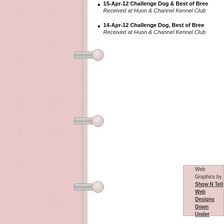15-Apr-12 Challenge Dog & Best of Breed. Received at Huon & Channel Kennel Club
14-Apr-12 Challenge Dog, Best of Breed. Received at Huon & Channel Kennel Club
[Figure (photo): Pink-toned photo placeholder box in lower right content area]
Web Graphics by
Show N Tell Web Designs
Down Under